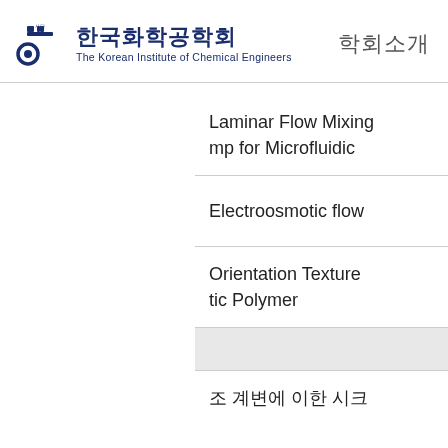사단 한국화학공학회 The Korean Institute of Chemical Engineers | 학회소개
Laminar Flow Mixing mp for Microfluidic
Electroosmotic flow
Orientation Texture tic Polymer
조 계변에 이한 시크